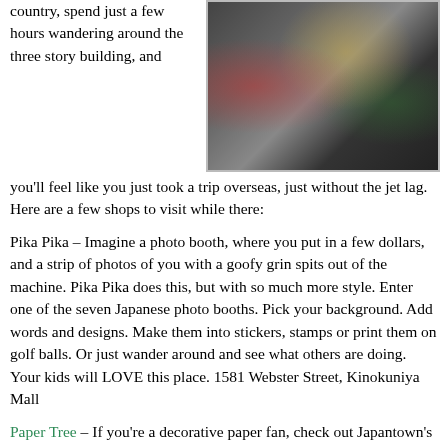country, spend just a few hours wandering around the three story building, and you'll feel like you just took a trip overseas, just without the jet lag. Here are a few shops to visit while there:
[Figure (photo): Indoor photo of a Japanese mall or store interior with people walking around, colorful merchandise displays visible.]
Pika Pika – Imagine a photo booth, where you put in a few dollars, and a strip of photos of you with a goofy grin spits out of the machine. Pika Pika does this, but with so much more style. Enter one of the seven Japanese photo booths. Pick your background. Add words and designs. Make them into stickers, stamps or print them on golf balls. Or just wander around and see what others are doing. Your kids will LOVE this place. 1581 Webster Street, Kinokuniya Mall
Paper Tree – If you're a decorative paper fan, check out Japantown's Paper Tree. Here, you can stock up on high quality patterned paper, whether for origami, gift wrap, or to make your own books. The Japanese art of wrapping is alive and well. 1743 Buchanan Mall
Isobune Sushi – if you've ever taken sushi dishes from the floating boats circumnavigating the sushi chef in the middle, you can thank Isobune. This was the first sushi restaurant to do this. Take a break